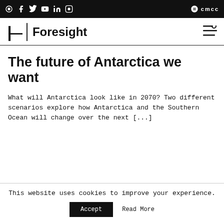Social icons and CMCC logo navigation bar
Foresight
The future of Antarctica we want
What will Antarctica look like in 2070? Two different scenarios explore how Antarctica and the Southern Ocean will change over the next [...]
This website uses cookies to improve your experience.
Accept   Read More